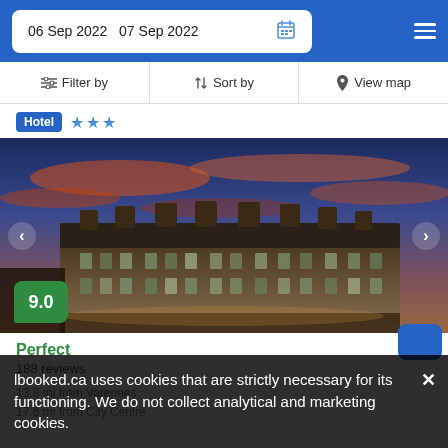06 Sep 2022  07 Sep 2022
Filter by  Sort by  View map
Hotel ★★★
[Figure (photo): A hotel building photographed at dusk with dramatic orange and blue cloudy sky. Score badge showing 9.0 in green.]
Perfect
188 reviews
13.8 mi from Varennes
17.6 mi from City Centre
...featuring pool, this property is set a short distance from Étoile Banque Nationale and offers stunning
distance from Étoile Banque Nationale and offers tumning
lbooked.ca uses cookies that are strictly necessary for its functioning. We do not collect analytical and marketing cookies.